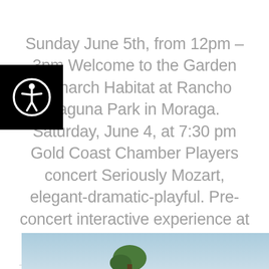[Figure (logo): Accessibility icon — white person with outstretched arms inside a circle, on black background]
Sunday June 5th, from 12pm – 3pm Welcome to the Garden Monarch Habitat at Rancho Laguna Park in Moraga. Saturday, June 4, at 7:30 pm Gold Coast Chamber Players concert Seriously Mozart, elegant-dramatic-playful. Pre-concert interactive experience at 7 p.m. Don [...]
Continue Reading →
[Figure (photo): Partial outdoor photo showing sky and treetop at bottom of page]